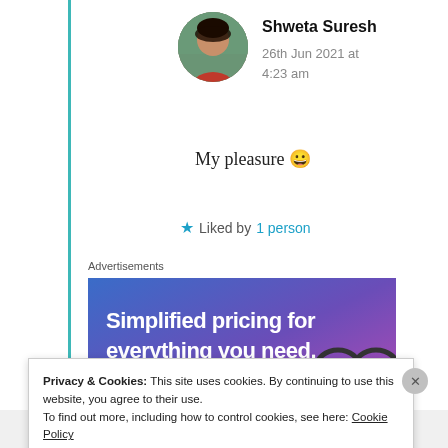Shweta Suresh
26th Jun 2021 at 4:23 am
My pleasure 😀
★ Liked by 1 person
Advertisements
[Figure (other): Advertisement banner with blue-purple gradient background reading 'Simplified pricing for everything you need.' with a pink button partially visible at bottom.]
Privacy & Cookies: This site uses cookies. By continuing to use this website, you agree to their use. To find out more, including how to control cookies, see here: Cookie Policy
Close and accept